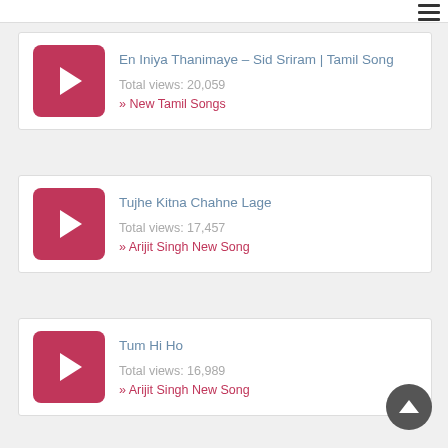En Iniya Thanimaye – Sid Sriram | Tamil Song
Total views: 20,059
» New Tamil Songs
Tujhe Kitna Chahne Lage
Total views: 17,457
» Arijit Singh New Song
Tum Hi Ho
Total views: 16,989
» Arijit Singh New Song